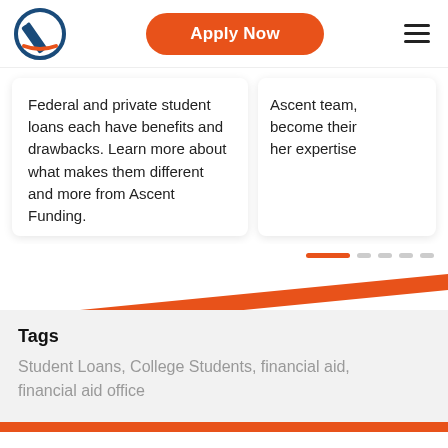[Figure (logo): Ascent Funding logo — circular icon with rocket/pencil and diagonal stripes in dark blue and orange]
Apply Now
[Figure (other): Hamburger menu icon — three horizontal lines]
Federal and private student loans each have benefits and drawbacks. Learn more about what makes them different and more from Ascent Funding.
Ascent team, become their her expertise
[Figure (other): Pagination indicator: one orange active bar followed by four grey dots]
[Figure (other): Orange diagonal accent bar]
Tags
Student Loans, College Students, financial aid, financial aid office